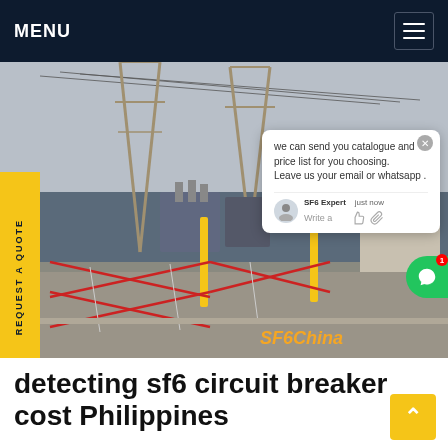MENU
[Figure (photo): Electrical substation with tall transmission towers, yellow safety barriers with red X-pattern fencing in foreground, industrial area in background. SF6China watermark in orange italic text bottom right. Chat popup overlay showing 'we can send you catalogue and price list for you choosing. Leave us your email or whatsapp .' with SF6 Expert label and just now timestamp. Yellow vertical REQUEST A QUOTE tab on left side.]
detecting sf6 circuit breaker cost Philippines